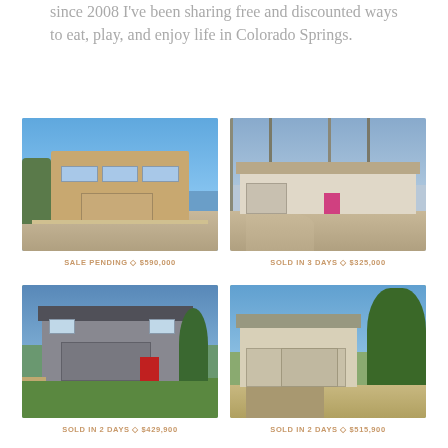since 2008 I've been sharing free and discounted ways to eat, play, and enjoy life in Colorado Springs.
[Figure (photo): Two-story brick house with garage, blue sky, sale pending]
SALE PENDING ◇ $590,000
[Figure (photo): Ranch style house with pink door, winter trees]
SOLD IN 3 DAYS ◇ $325,000
[Figure (photo): Grey two-story house with red door and green lawn]
SOLD IN 2 DAYS ◇ $429,900
[Figure (photo): Beige two-story house with large garage and pine trees]
SOLD IN 2 DAYS ◇ $515,900